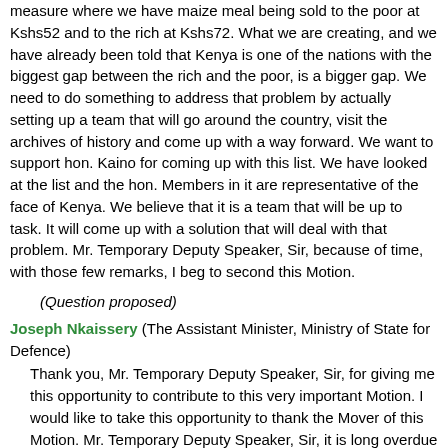measure where we have maize meal being sold to the poor at Kshs52 and to the rich at Kshs72. What we are creating, and we have already been told that Kenya is one of the nations with the biggest gap between the rich and the poor, is a bigger gap. We need to do something to address that problem by actually setting up a team that will go around the country, visit the archives of history and come up with a way forward. We want to support hon. Kaino for coming up with this list. We have looked at the list and the hon. Members in it are representative of the face of Kenya. We believe that it is a team that will be up to task. It will come up with a solution that will deal with that problem. Mr. Temporary Deputy Speaker, Sir, because of time, with those few remarks, I beg to second this Motion.
(Question proposed)
Joseph Nkaissery (The Assistant Minister, Ministry of State for Defence)
Thank you, Mr. Temporary Deputy Speaker, Sir, for giving me this opportunity to contribute to this very important Motion. I would like to take this opportunity to thank the Mover of this Motion. Mr. Temporary Deputy Speaker, Sir, it is long overdue to suppress, remove or completely wipe out cattle rustling in our country. In